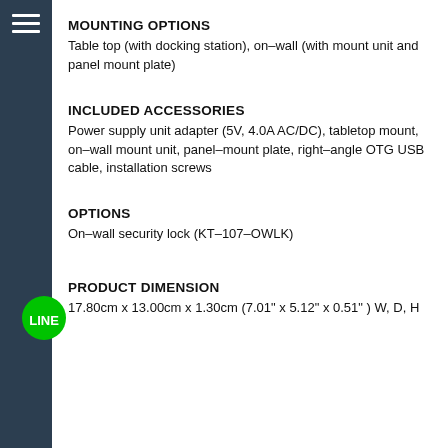MOUNTING OPTIONS
Table top (with docking station), on–wall (with mount unit and panel mount plate)
INCLUDED ACCESSORIES
Power supply unit adapter (5V, 4.0A AC/DC), tabletop mount, on–wall mount unit, panel–mount plate, right–angle OTG USB cable, installation screws
OPTIONS
On–wall security lock (KT–107–OWLK)
PRODUCT DIMENSION
17.80cm x 13.00cm x 1.30cm (7.01" x 5.12" x 0.51" ) W, D, H